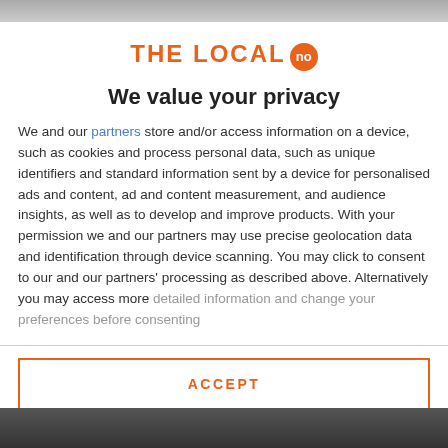[Figure (logo): The Local NO logo — orange uppercase text 'THE LOCAL' with an orange circle badge containing 'no']
We value your privacy
We and our partners store and/or access information on a device, such as cookies and process personal data, such as unique identifiers and standard information sent by a device for personalised ads and content, ad and content measurement, and audience insights, as well as to develop and improve products. With your permission we and our partners may use precise geolocation data and identification through device scanning. You may click to consent to our and our partners' processing as described above. Alternatively you may access more detailed information and change your preferences before consenting
ACCEPT
MORE OPTIONS